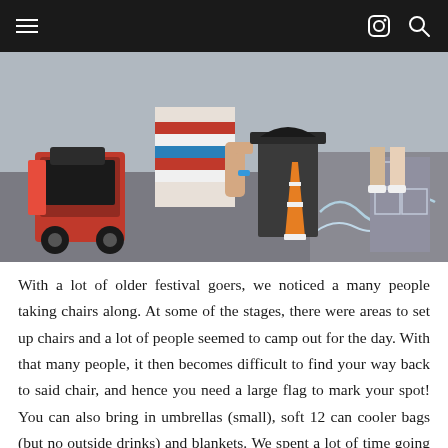Navigation bar with menu, Instagram icon, and search icon
[Figure (photo): Outdoor festival scene showing a person in a red and white striped shirt near a mobility scooter, a traffic cone, a black trash bin, and chalk drawings on pavement in the background.]
With a lot of older festival goers, we noticed a many people taking chairs along. At some of the stages, there were areas to set up chairs and a lot of people seemed to camp out for the day. With that many people, it then becomes difficult to find your way back to said chair, and hence you need a large flag to mark your spot! You can also bring in umbrellas (small), soft 12 can cooler bags (but no outside drinks) and blankets. We spent a lot of time going between